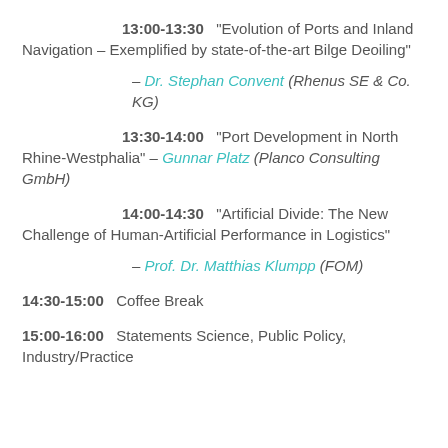13:00-13:30 "Evolution of Ports and Inland Navigation – Exemplified by state-of-the-art Bilge Deoiling"
— Dr. Stephan Convent (Rhenus SE & Co. KG)
13:30-14:00 "Port Development in North Rhine-Westphalia" — Gunnar Platz (Planco Consulting GmbH)
14:00-14:30 "Artificial Divide: The New Challenge of Human-Artificial Performance in Logistics"
— Prof. Dr. Matthias Klumpp (FOM)
14:30-15:00 Coffee Break
15:00-16:00 Statements Science, Public Policy, Industry/Practice